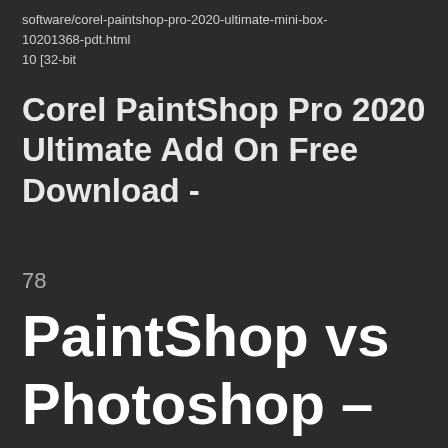software/corel-paintshop-pro-2020-ultimate-mini-box-10201368-pdt.html
10 [32-bit
Corel PaintShop Pro 2020 Ultimate Add On Free Download -
78
PaintShop vs Photoshop – What Software to Use?